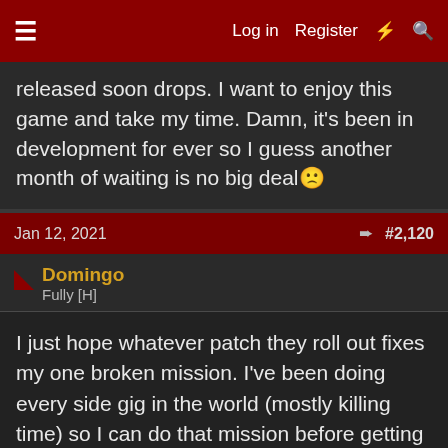Log in  Register
released soon drops. I want to enjoy this game and take my time. Damn, it's been in development for ever so I guess another month of waiting is no big deal 🙁
Jan 12, 2021   #2,120
Domingo
Fully [H]
I just hope whatever patch they roll out fixes my one broken mission. I've been doing every side gig in the world (mostly killing time) so I can do that mission before getting too far into the main plot.
◄ Prev  1  ...  53  ...  92  Next ►
You must log in or register to reply here.